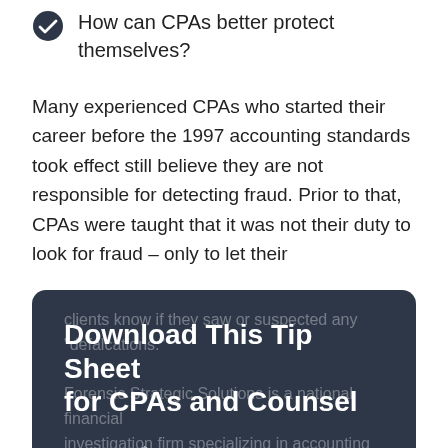How can CPAs better protect themselves?
Many experienced CPAs who started their career before the 1997 accounting standards took effect still believe they are not responsible for detecting fraud. Prior to that, CPAs were taught that it was not their duty to look for fraud – only to let their clients know if they saw or suspected any "defalcations."
Forensic Strategic Solutions is a national financial investigation firm specializing in accounting and financial reporting issues, whether the alleged malpractice stems from fraud that was not uncovered by CPAs or from a failure by CPAs to follow...
Download This Tip Sheet for CPAs and Counsel
First Name*
Last Name*